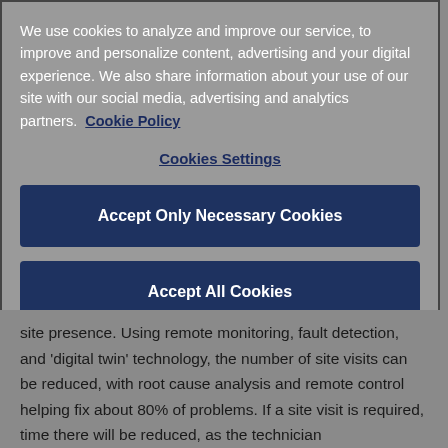We use cookies to analyze and improve our service, to improve and personalize content, advertising and your digital experience. We also share information about your use of our site with our social media, advertising and analytics partners.  Cookie Policy
Cookies Settings
Accept Only Necessary Cookies
Accept All Cookies
site presence. Using remote monitoring, fault detection, and 'digital twin' technology, the number of site visits can be reduced, with root cause analysis and remote control helping fix about 80% of problems. If a site visit is required, time there will be reduced, as the technician